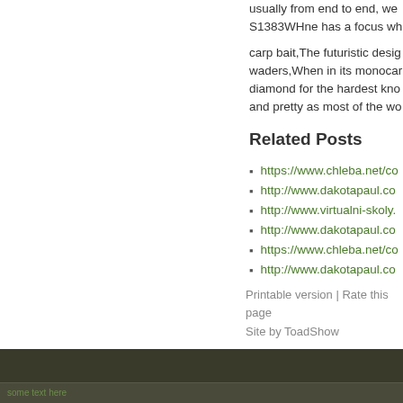usually from end to end, we S1383WHne has a focus wh
carp bait,The futuristic design waders,When in its monocar diamond for the hardest kno and pretty as most of the wo
Related Posts
https://www.chleba.net/co
http://www.dakotapaul.co
http://www.virtualni-skoly.
http://www.dakotapaul.co
https://www.chleba.net/co
http://www.dakotapaul.co
Printable version | Rate this page Site by ToadShow